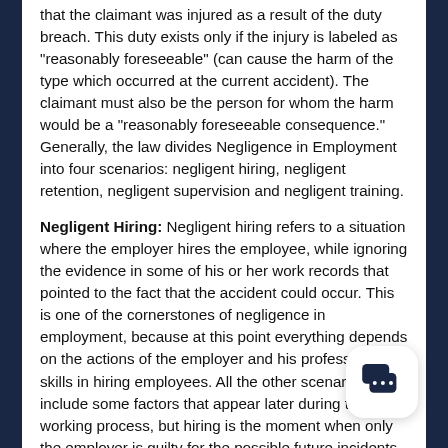that the claimant was injured as a result of the duty breach. This duty exists only if the injury is labeled as "reasonably foreseeable" (can cause the harm of the type which occurred at the current accident). The claimant must also be the person for whom the harm would be a "reasonably foreseeable consequence." Generally, the law divides Negligence in Employment into four scenarios: negligent hiring, negligent retention, negligent supervision and negligent training.
Negligent Hiring: Negligent hiring refers to a situation where the employer hires the employee, while ignoring the evidence in some of his or her work records that pointed to the fact that the accident could occur. This is one of the cornerstones of negligence in employment, because at this point everything depends on the actions of the employer and his professional skills in hiring employees. All the other scenarios can include some factors that appear later during the working process, but hiring is the moment when only the employer is guilty for the possible future incidents. Negligent hiring could be an underlying factor in a situation that could be prevented by the buyer alone. Additional investigation may uncover some facts about a potential employee. So it is best for the buyers to conduct interviews, verify employment, education history, background, and more.